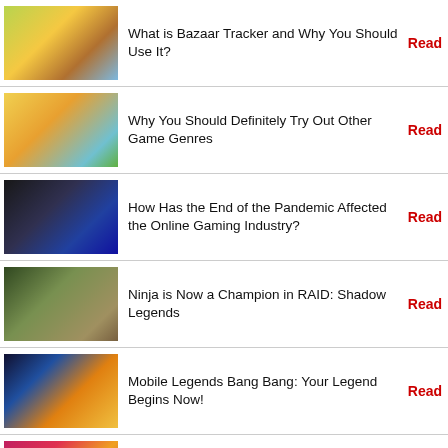What is Bazaar Tracker and Why You Should Use It?
Why You Should Definitely Try Out Other Game Genres
How Has the End of the Pandemic Affected the Online Gaming Industry?
Ninja is Now a Champion in RAID: Shadow Legends
Mobile Legends Bang Bang: Your Legend Begins Now!
How to Pick The Best Online Slots For You
6 Reasons Why More Gamers Should Try Online Casinos
Maximising Your Winnings From A Slot Machine